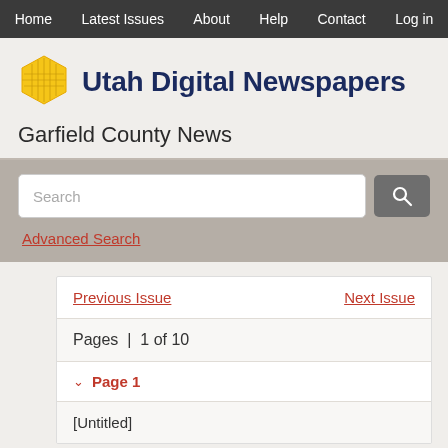Home | Latest Issues | About | Help | Contact | Log in
[Figure (logo): Utah Digital Newspapers hexagon logo with golden/yellow color and grid pattern]
Utah Digital Newspapers
Garfield County News
Search
Advanced Search
Previous Issue
Next Issue
Pages | 1 of 10
Page 1
[Untitled]